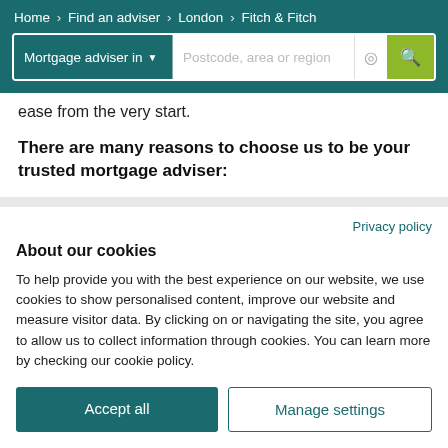Home › Find an adviser › London › Fitch & Fitch
[Figure (screenshot): Search bar with 'Mortgage adviser in ▾' dropdown, 'Postcode, area or region' input field, location icon, and green search button]
ease from the very start.
There are many reasons to choose us to be your trusted mortgage adviser:
Privacy policy
About our cookies
To help provide you with the best experience on our website, we use cookies to show personalised content, improve our website and measure visitor data. By clicking on or navigating the site, you agree to allow us to collect information through cookies. You can learn more by checking our cookie policy.
Accept all
Manage settings